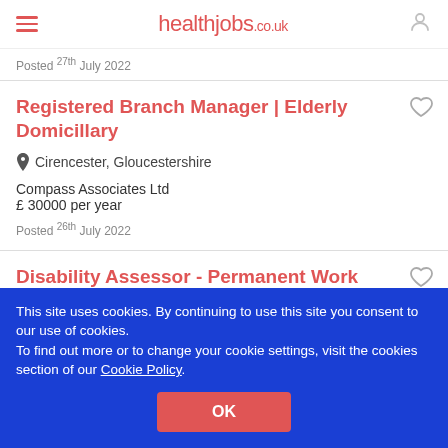healthjobs.co.uk
Posted 27th July 2022
Registered Branch Manager | Elderly Domicillary
Cirencester, Gloucestershire
Compass Associates Ltd
£ 30000 per year
Posted 26th July 2022
Disability Assessor - Permanent Work
This site uses cookies. By continuing to use this site you consent to our use of cookies.
To find out more or to change your cookie settings, visit the cookies section of our Cookie Policy.
OK